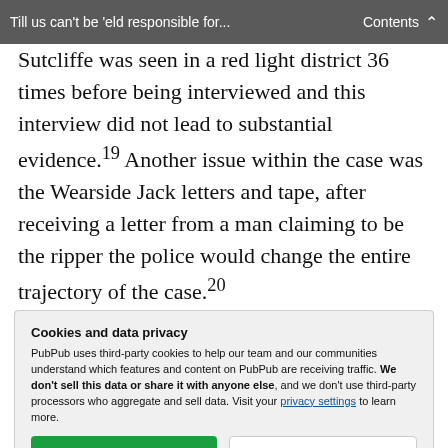Till us can't be 'eld responsible for...   Contents
Sutcliffe was seen in a red light district 36 times before being interviewed and this interview did not lead to substantial evidence.19 Another issue within the case was the Wearside Jack letters and tape, after receiving a letter from a man claiming to be the ripper the police would change the entire trajectory of the case.20
Cookies and data privacy
PubPub uses third-party cookies to help our team and our communities understand which features and content on PubPub are receiving traffic. We don't sell this data or share it with anyone else, and we don't use third-party processors who aggregate and sell data. Visit your privacy settings to learn more.
[Accept] [Disable]
police for two more years.21 If women